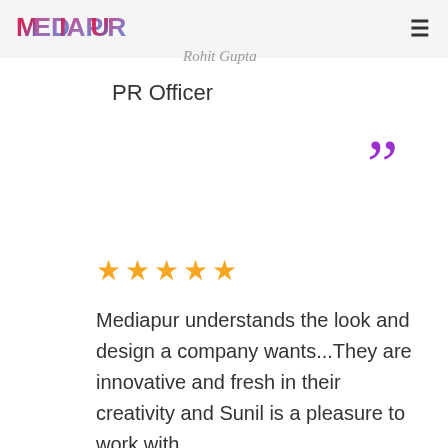MEDIAPUR
Rohit Gupta
PR Officer
[Figure (other): Large purple closing quotation marks decorative element]
[Figure (other): Five orange/yellow star rating icons]
Mediapur understands the look and design a company wants...They are innovative and fresh in their creativity and Sunil is a pleasure to work with